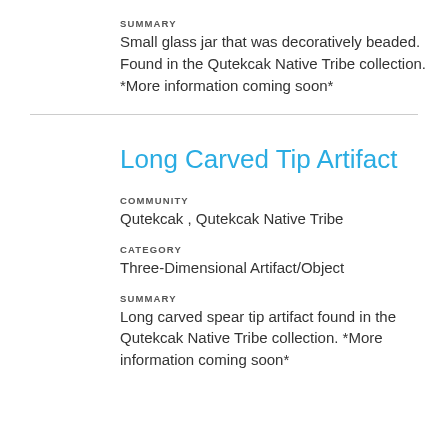SUMMARY
Small glass jar that was decoratively beaded. Found in the Qutekcak Native Tribe collection. *More information coming soon*
Long Carved Tip Artifact
COMMUNITY
Qutekcak , Qutekcak Native Tribe
CATEGORY
Three-Dimensional Artifact/Object
SUMMARY
Long carved spear tip artifact found in the Qutekcak Native Tribe collection. *More information coming soon*